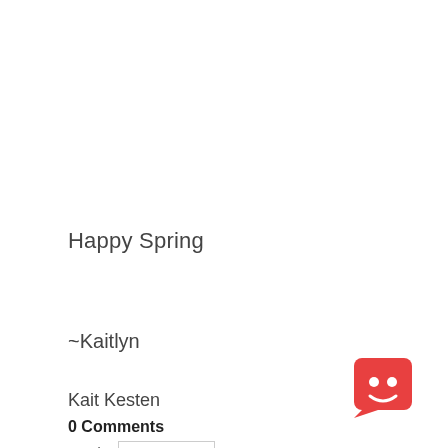Happy Spring
~Kaitlyn
Kait Kesten
0 Comments
Sort by  Newest
Add a comment...
[Figure (illustration): Red square chat bot icon with smiley face in bottom right corner]